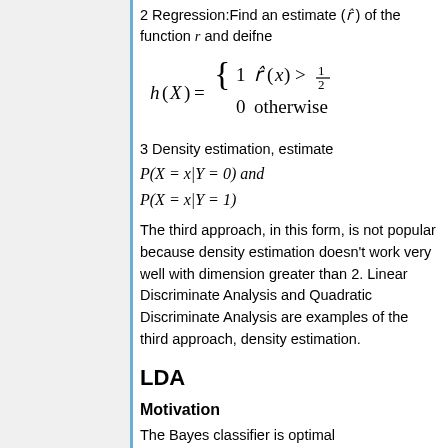2 Regression: Find an estimate (r-hat) of the function r and deifne
3 Density estimation, estimate P(X = x | Y = 0) and P(X = x | Y = 1)
The third approach, in this form, is not popular because density estimation doesn't work very well with dimension greater than 2. Linear Discriminate Analysis and Quadratic Discriminate Analysis are examples of the third approach, density estimation.
LDA
Motivation
The Bayes classifier is optimal